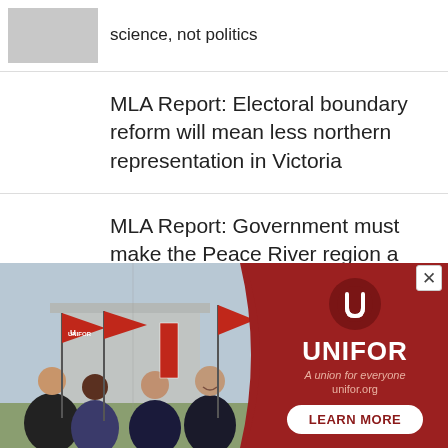science, not politics
MLA Report: Electoral boundary reform will mean less northern representation in Victoria
MLA Report: Government must make the Peace River region a priority in infrastructure plans
MLA Report: John Horgan will not
[Figure (photo): Advertisement banner for Unifor union showing people holding red Unifor flags outdoors, with Unifor logo, tagline 'A union for everyone', website unifor.org, and a Learn More button on a dark red background. A close (x) button is visible.]